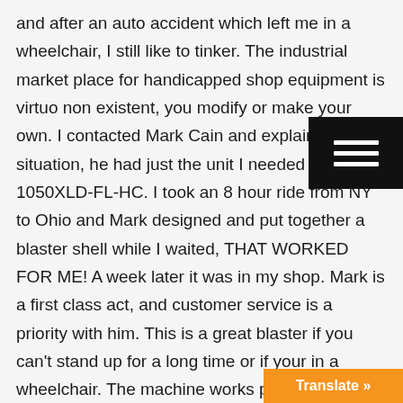and after an auto accident which left me in a wheelchair, I still like to tinker. The industrial market place for handicapped shop equipment is virtually non existent, you modify or make your own. I contacted Mark Cain and explained my situation, he had just the unit I needed the BB 1050XLD-FL-HC. I took an 8 hour ride from NY to Ohio and Mark designed and put together a blaster shell while I waited, THAT WORKED FOR ME! A week later it was in my shop. Mark is a first class act, and customer service is a priority with him. This is a great blaster if you can't stand up for a long time or if your in a wheelchair. The machine works perfect and cleans up anything you put in it quickly. I upgraded the dust vacuum and there is